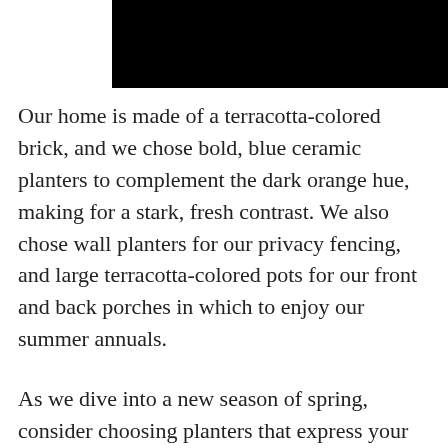[Figure (photo): Black redacted bar at the top of the page]
Our home is made of a terracotta-colored brick, and we chose bold, blue ceramic planters to complement the dark orange hue, making for a stark, fresh contrast. We also chose wall planters for our privacy fencing, and large terracotta-colored pots for our front and back porches in which to enjoy our summer annuals.
As we dive into a new season of spring, consider choosing planters that express your innermost self. As you'll see by this list, there is something for everyone!